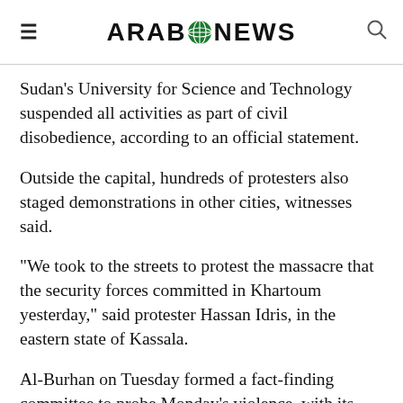ARAB NEWS
Sudan’s University for Science and Technology suspended all activities as part of civil disobedience, according to an official statement.
Outside the capital, hundreds of protesters also staged demonstrations in other cities, witnesses said.
“We took to the streets to protest the massacre that the security forces committed in Khartoum yesterday,” said protester Hassan Idris, in the eastern state of Kassala.
Al-Burhan on Tuesday formed a fact-finding committee to probe Monday’s violence, with its findings to be submitted within 72 hours. Sudan’s